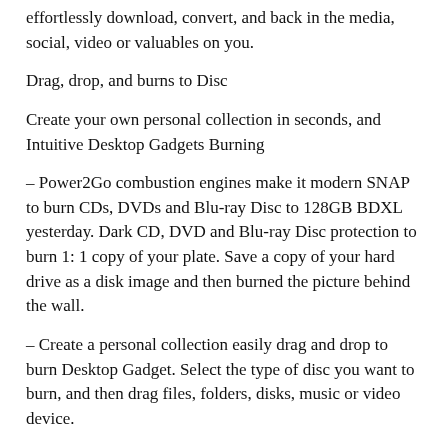effortlessly download, convert, and back in the media, social, video or valuables on you.
Drag, drop, and burns to Disc
Create your own personal collection in seconds, and Intuitive Desktop Gadgets Burning
– Power2Go combustion engines make it modern SNAP to burn CDs, DVDs and Blu-ray Disc to 128GB BDXL yesterday. Dark CD, DVD and Blu-ray Disc protection to burn 1: 1 copy of your plate. Save a copy of your hard drive as a disk image and then burned the picture behind the wall.
– Create a personal collection easily drag and drop to burn Desktop Gadget. Select the type of disc you want to burn, and then drag files, folders, disks, music or video device.
features: